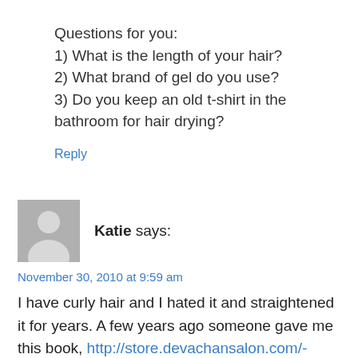Questions for you:
1) What is the length of your hair?
2) What brand of gel do you use?
3) Do you keep an old t-shirt in the bathroom for hair drying?
Reply
[Figure (illustration): Gray avatar placeholder icon showing a silhouette of a person]
Katie says:
November 30, 2010 at 9:59 am
I have curly hair and I hated it and straightened it for years. A few years ago someone gave me this book, http://store.devachansalon.com/-strse-5/Curly-Girl-Handbook/Detail.bok, and I started using their